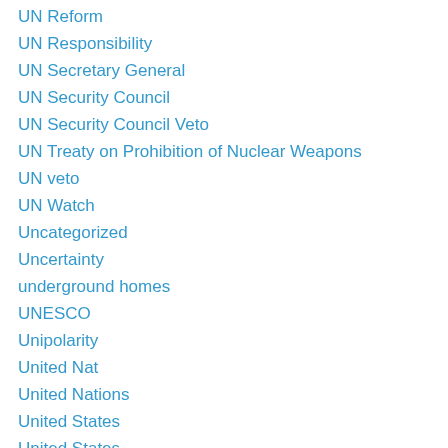UN Reform
UN Responsibility
UN Secretary General
UN Security Council
UN Security Council Veto
UN Treaty on Prohibition of Nuclear Weapons
UN veto
UN Watch
Uncategorized
Uncertainty
underground homes
UNESCO
Unipolarity
United Nat
United Nations
United States
United States
United States alliance
United States Congress
United States foreign policy